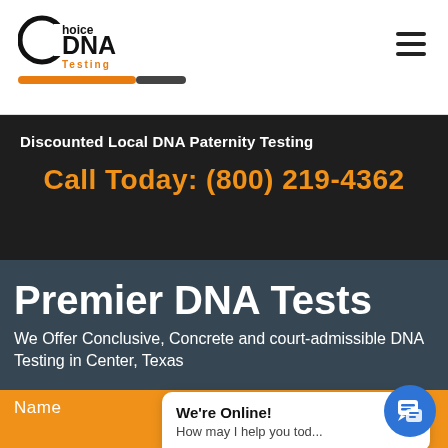[Figure (logo): Choice DNA Testing logo with stylized C circle, 'Choice' and 'DNA' text, 'Testing' subtitle in orange, and orange/gray underline bar]
☰ (hamburger menu icon)
Discounted Local DNA Paternity Testing
Call Today: (800) 219-4362
Premier DNA Tests
We Offer Conclusive, Concrete and court-admissible DNA Testing in Center, Texas
Name
We're Online!
How may I help you tod...